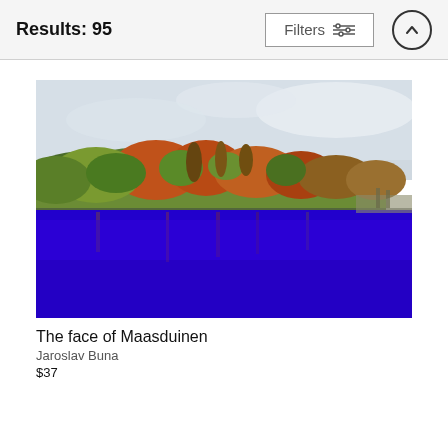Results: 95
[Figure (photo): Landscape photo titled 'The face of Maasduinen' showing autumn trees with red and orange foliage along the edge of a still, deep blue lake under a pale cloudy sky.]
The face of Maasduinen
Jaroslav Buna
$37